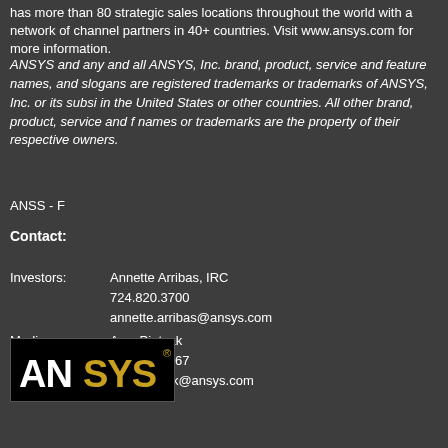has more than 80 strategic sales locations throughout the world with a network of channel partners in 40+ countries. Visit www.ansys.com for more information.
ANSYS and any and all ANSYS, Inc. brand, product, service and feature names, and slogans are registered trademarks or trademarks of ANSYS, Inc. or its subsidiaries in the United States or other countries. All other brand, product, service and feature names or trademarks are the property of their respective owners.
ANSS - F
Contact:
Investors:	Annette Arribas, IRC
	724.820.3700
	annette.arribas@ansys.com
Media:	Amy Pietzak
	724.820.4367
	amy.pietzak@ansys.com
[Figure (logo): ANSYS company logo — black background with white 'AN' and gold 'SYS' text and registered trademark symbol]